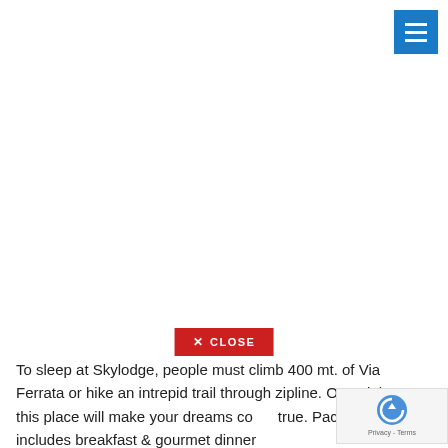[Figure (screenshot): Blue hamburger menu button in top-right corner of a webpage]
[Figure (screenshot): Red CLOSE button with X icon, used to close an overlay or ad]
To sleep at Skylodge, people must climb 400 mt. of Via Ferrata or hike an intrepid trail through zipline. One night at this place will make your dreams come true. Packages includes breakfast & gourmet dinner